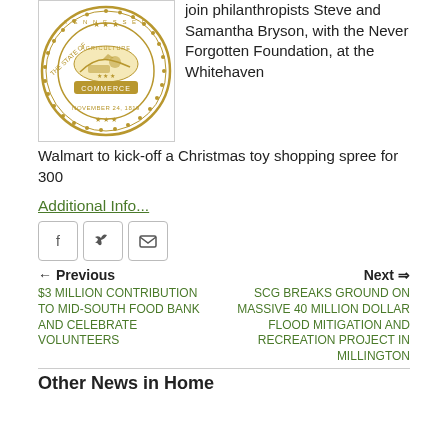[Figure (logo): Tennessee State Seal - circular gold seal with text THE STATE OF TENNESSEE AGRICULTURE COMMERCE and date NOVEMBER 24, 1819]
join philanthropists Steve and Samantha Bryson, with the Never Forgotten Foundation, at the Whitehaven Walmart to kick-off a Christmas toy shopping spree for 300
Additional Info...
[Figure (other): Social sharing buttons: Facebook, Twitter, Email]
← Previous
$3 MILLION CONTRIBUTION TO MID-SOUTH FOOD BANK AND CELEBRATE VOLUNTEERS
Next →
SCG BREAKS GROUND ON MASSIVE 40 MILLION DOLLAR FLOOD MITIGATION AND RECREATION PROJECT IN MILLINGTON
Other News in Home